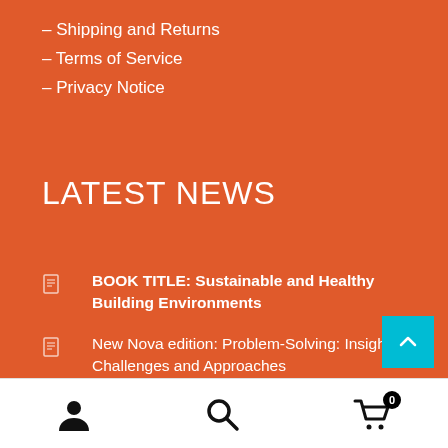– Shipping and Returns
– Terms of Service
– Privacy Notice
LATEST NEWS
BOOK TITLE: Sustainable and Healthy Building Environments
New Nova edition: Problem-Solving: Insights, Challenges and Approaches
What is gun violence?